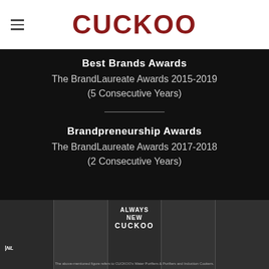CUCKOO
Best Brands Awards
The BrandLaureate Awards 2015-2019
(5 Consecutive Years)
Brandpreneurship Awards
The BrandLaureate Awards 2017-2018
(2 Consecutive Years)
[Figure (photo): Photo strip showing event scenes with ALWAYS NEW CUCKOO branding overlay and multiple black-and-white photographs of people at award ceremonies]
The above-mentioned figure refers to CUCKOO's Water Purifiers & Purifiers and Induction Cookers.